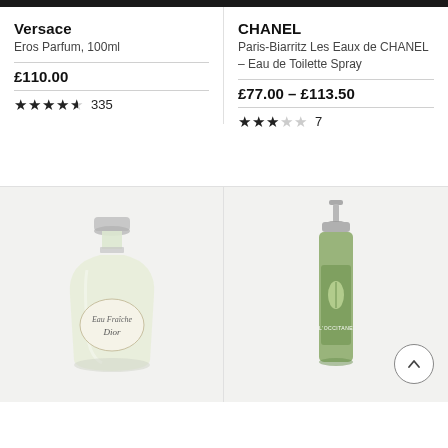Versace
Eros Parfum, 100ml
£110.00
★★★★½ 335
CHANEL
Paris-Biarritz Les Eaux de CHANEL – Eau de Toilette Spray
£77.00 – £113.50
★★★☆☆ 7
[Figure (photo): Dior Eau Fraiche perfume bottle on light grey background]
[Figure (photo): L'Occitane green perfume bottle on light grey background with scroll-to-top button]